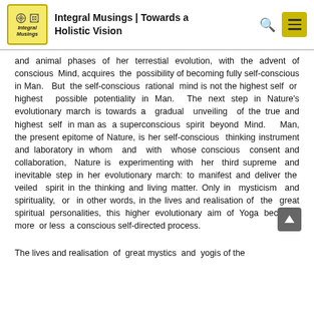Integral Musings | Towards a Holistic Vision
and animal phases of her terrestial evolution, with the advent of conscious Mind, acquires the possibility of becoming fully self-conscious in Man. But the self-conscious rational mind is not the highest self or highest possible potentiality in Man. The next step in Nature's evolutionary march is towards a gradual unveiling of the true and highest self in man as a superconscious spirit beyond Mind. Man, the present epitome of Nature, is her self-conscious thinking instrument and laboratory in whom and with whose conscious consent and collaboration, Nature is experimenting with her third supreme and inevitable step in her evolutionary march: to manifest and deliver the veiled spirit in the thinking and living matter. Only in mysticism and spirituality, or in other words, in the lives and realisation of the great spiritual personalities, this higher evolutionary aim of Yoga becomes more or less a conscious self-directed process.
The lives and realisation of great mystics and yogis of the